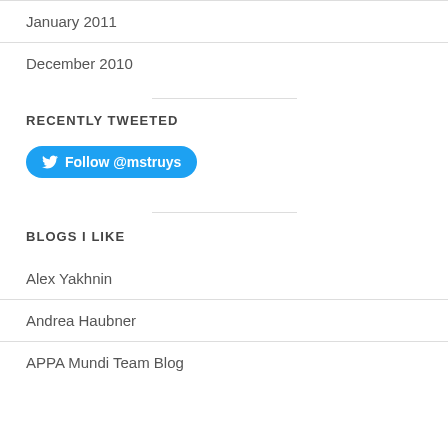January 2011
December 2010
RECENTLY TWEETED
[Figure (other): Twitter Follow button for @mstruys]
BLOGS I LIKE
Alex Yakhnin
Andrea Haubner
APPA Mundi Team Blog